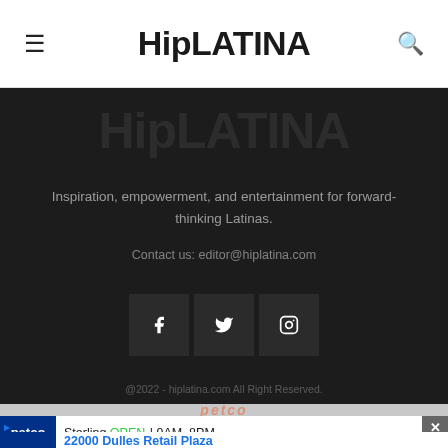HipLATINA
[Figure (logo): HipLATINA watermark logo faintly visible in dark background section]
Inspiration, empowerment, and entertainment for forward-thinking Latinas.
Contact us: editor@hiplatina.com
[Figure (infographic): Three social media icon buttons for Facebook, Twitter, and Instagram on dark background]
@2022 - hiplatina.com All Right Reserved.
[Figure (photo): Petco advertisement banner with Petco logo, Sterling store info showing OPEN 9AM-8PM and 22000 Dulles Retail Plaza address]